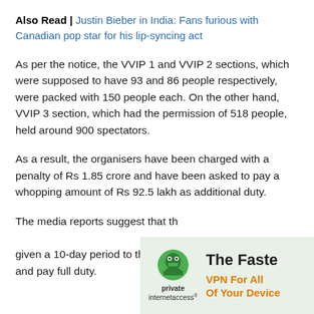Also Read | Justin Bieber in India: Fans furious with Canadian pop star for his lip-syncing act
As per the notice, the VVIP 1 and VVIP 2 sections, which were supposed to have 93 and 86 people respectively, were packed with 150 people each. On the other hand, VVIP 3 section, which had the permission of 518 people, held around 900 spectators.
As a result, the organisers have been charged with a penalty of Rs 1.85 crore and have been asked to pay a whopping amount of Rs 92.5 lakh as additional duty.
The media reports suggest that th[e authorities have given a 10-day period to the organ[isers to respond] and pay full duty.
[Figure (other): Advertisement overlay for Private Internet Access VPN showing green robot logo, brand name 'private internetaccess', headline 'The Faste' and subheadline 'VPN For All Of Your Device']